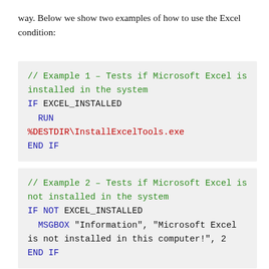way. Below we show two examples of how to use the Excel condition:
// Example 1 – Tests if Microsoft Excel is installed in the system
IF EXCEL_INSTALLED
  RUN %DESTDIR\InstallExcelTools.exe
END IF
// Example 2 – Tests if Microsoft Excel is not installed in the system
IF NOT EXCEL_INSTALLED
  MSGBOX "Information", "Microsoft Excel is not installed in this computer!", 2
END IF